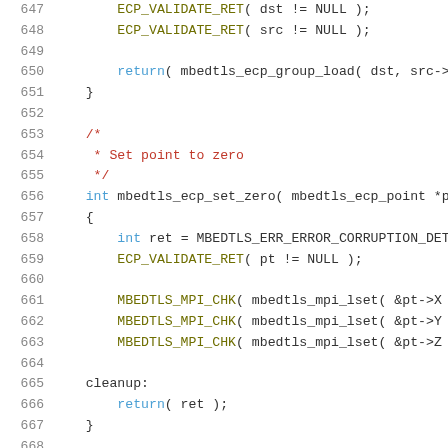[Figure (screenshot): Source code listing in C showing lines 647-668 with syntax highlighting. Functions include ECP_VALIDATE_RET, mbedtls_ecp_group_load, mbedtls_ecp_set_zero, and MBEDTLS_MPI_CHK calls.]